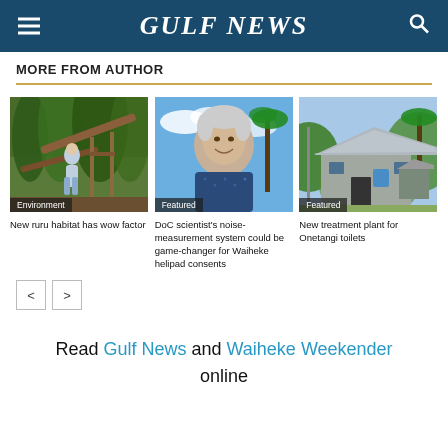GULF NEWS
MORE FROM AUTHOR
[Figure (photo): Woman standing near fallen or damaged plant/tree in a garden setting]
Environment
New ruru habitat has wow factor
[Figure (photo): Smiling elderly man in patterned shirt outdoors with palm trees and blue sky]
Featured
DoC scientist's noise-measurement system could be game-changer for Waiheke helipad consents
[Figure (photo): Exterior of a building with metal roof and utility structures, green trees in background]
Featured
New treatment plant for Onetangi toilets
Read Gulf News and Waiheke Weekender online